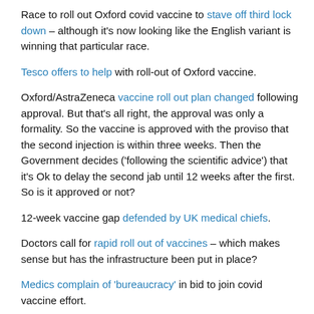Race to roll out Oxford covid vaccine to stave off third lock down – although it's now looking like the English variant is winning that particular race.
Tesco offers to help with roll-out of Oxford vaccine.
Oxford/AstraZeneca vaccine roll out plan changed following approval. But that's all right, the approval was only a formality. So the vaccine is approved with the proviso that the second injection is within three weeks. Then the Government decides ('following the scientific advice') that it's Ok to delay the second jab until 12 weeks after the first. So is it approved or not?
12-week vaccine gap defended by UK medical chiefs.
Doctors call for rapid roll out of vaccines – which makes sense but has the infrastructure been put in place?
Medics complain of 'bureaucracy' in bid to join covid vaccine effort.
Chris Whitty moves to head off General Practitioners' (GPs')